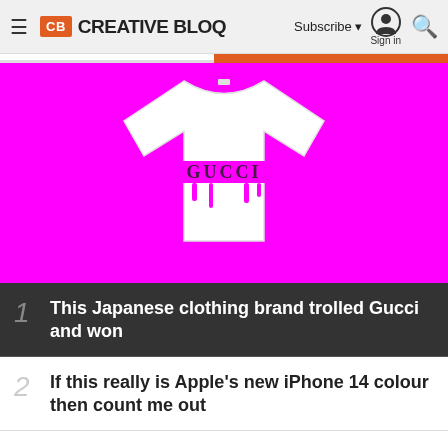CB CREATIVE BLOQ | Subscribe | Sign in
[Figure (photo): White t-shirt with Gucci logo partially covered by a pink/magenta paint stroke, displayed against a bright magenta/pink background]
1 This Japanese clothing brand trolled Gucci and won
2 If this really is Apple's new iPhone 14 colour then count me out